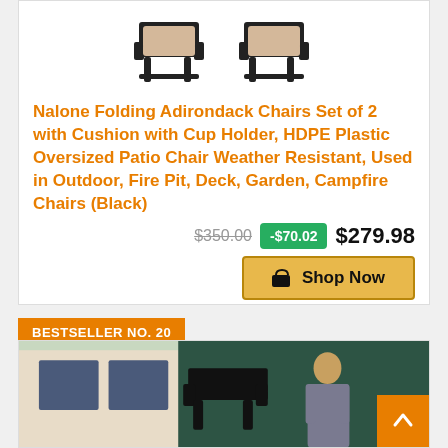[Figure (photo): Two black Adirondack folding chairs with beige cushions, cropped view from above]
Nalone Folding Adirondack Chairs Set of 2 with Cushion with Cup Holder, HDPE Plastic Oversized Patio Chair Weather Resistant, Used in Outdoor, Fire Pit, Deck, Garden, Campfire Chairs (Black)
$350.00  -$70.02  $279.98
Shop Now
BESTSELLER NO. 20
[Figure (photo): Child leaning on a black Adirondack chair outdoors near a building]